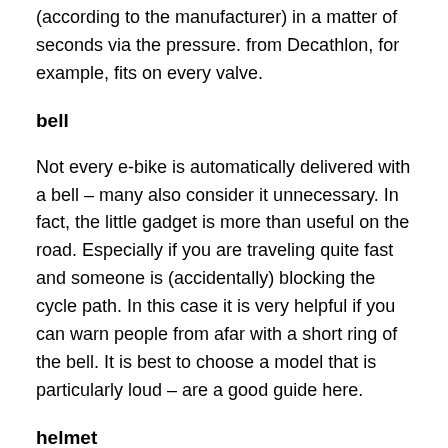(according to the manufacturer) in a matter of seconds via the pressure. from Decathlon, for example, fits on every valve.
bell
Not every e-bike is automatically delivered with a bell – many also consider it unnecessary. In fact, the little gadget is more than useful on the road. Especially if you are traveling quite fast and someone is (accidentally) blocking the cycle path. In this case it is very helpful if you can warn people from afar with a short ring of the bell. It is best to choose a model that is particularly loud – are a good guide here.
helmet
Last but not least, the are not missing in the e-bike accessories. Because even if helmets are still not compulsory